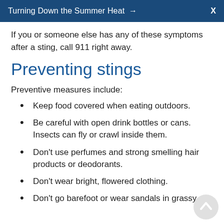Turning Down the Summer Heat → X
If you or someone else has any of these symptoms after a sting, call 911 right away.
Preventing stings
Preventive measures include:
Keep food covered when eating outdoors.
Be careful with open drink bottles or cans. Insects can fly or crawl inside them.
Don't use perfumes and strong smelling hair products or deodorants.
Don't wear bright, flowered clothing.
Don't go barefoot or wear sandals in grassy areas.